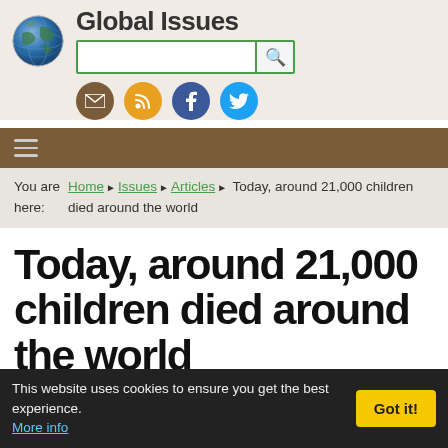Global Issues
[Figure (screenshot): Globe icon for Global Issues website logo]
[Figure (screenshot): Social media icons: email, RSS, Facebook, Twitter]
You are here: Home › Issues › Articles › Today, around 21,000 children died around the world
Today, around 21,000 children died around the world
by Anup Shah
This website uses cookies to ensure you get the best experience. More info  Got it!